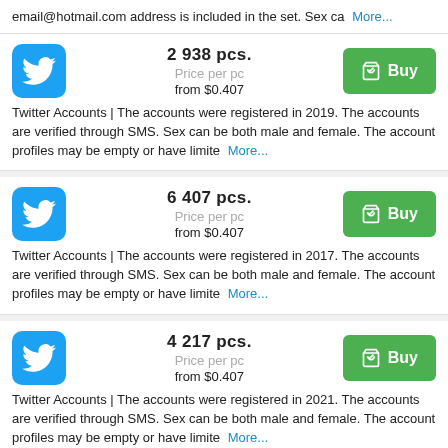email@hotmail.com address is included in the set. Sex can be both...
2 938 pcs. Price per pc from $0.407
Twitter Accounts | The accounts were registered in 2019. The accounts are verified through SMS. Sex can be both male and female. The account profiles may be empty or have limite
6 407 pcs. Price per pc from $0.407
Twitter Accounts | The accounts were registered in 2017. The accounts are verified through SMS. Sex can be both male and female. The account profiles may be empty or have limite
4 217 pcs. Price per pc from $0.407
Twitter Accounts | The accounts were registered in 2021. The accounts are verified through SMS. Sex can be both male and female. The account profiles may be empty or have limite